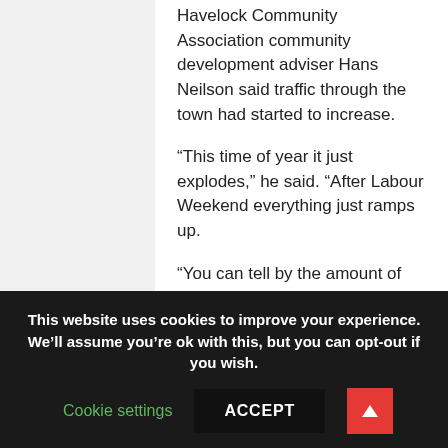Havelock Community Association community development adviser Hans Neilson said traffic through the town had started to increase.
“This time of year it just explodes,” he said. “After Labour Weekend everything just ramps up.
“You can tell by the amount of cars parked on the main strip.”
This month marked the one year anniversary of the opening of
This website uses cookies to improve your experience. We’ll assume you’re ok with this, but you can opt-out if you wish.